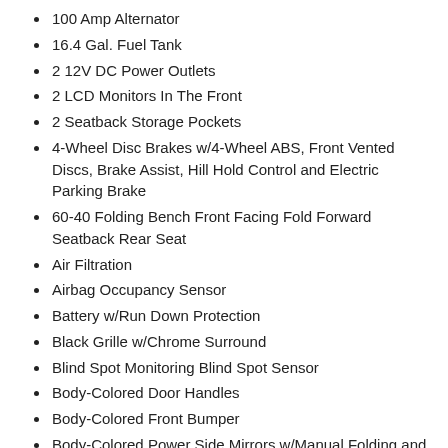100 Amp Alternator
16.4 Gal. Fuel Tank
2 12V DC Power Outlets
2 LCD Monitors In The Front
2 Seatback Storage Pockets
4-Wheel Disc Brakes w/4-Wheel ABS, Front Vented Discs, Brake Assist, Hill Hold Control and Electric Parking Brake
60-40 Folding Bench Front Facing Fold Forward Seatback Rear Seat
Air Filtration
Airbag Occupancy Sensor
Battery w/Run Down Protection
Black Grille w/Chrome Surround
Blind Spot Monitoring Blind Spot Sensor
Body-Colored Door Handles
Body-Colored Front Bumper
Body-Colored Power Side Mirrors w/Manual Folding and Turn Signal Indicator
Body-Colored Rear Bumper
Cargo Space Lights